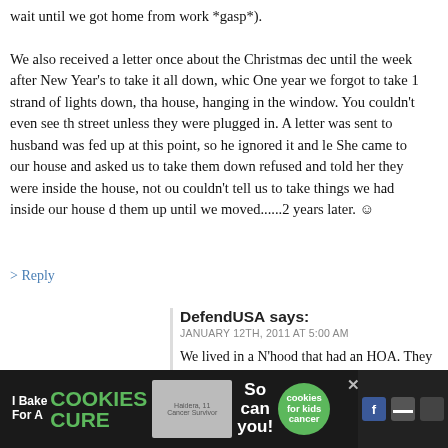wait until we got home from work *gasp*). We also received a letter once about the Christmas dec until the week after New Year's to take it all down, whic One year we forgot to take 1 strand of lights down, tha house, hanging in the window. You couldn't even see th street unless they were plugged in. A letter was sent to husband was fed up at this point, so he ignored it and le She came to our house and asked us to take them down refused and told her they were inside the house, not ou couldn't tell us to take things we had inside our house d them up until we moved......2 years later. ☺
> Reply
DefendUSA says:
JANUARY 12TH, 2011 AT 5:00 AM

We lived in a N'hood that had an HOA. They were lik around to nickel and dime you with "rule violation" n We went under the radar anytime we could. I got it b
[Figure (other): Advertisement banner at the bottom: 'I Bake COOKIES For A CURE' with an image of a girl and 'So can you!' text and a cookies for kids cancer logo, with social media icons on the right.]